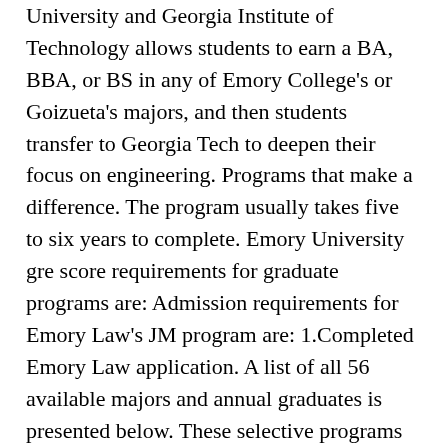University and Georgia Institute of Technology allows students to earn a BA, BBA, or BS in any of Emory College's or Goizueta's majors, and then students transfer to Georgia Tech to deepen their focus on engineering. Programs that make a difference. The program usually takes five to six years to complete. Emory University gre score requirements for graduate programs are: Admission requirements for Emory Law's JM program are: 1.Completed Emory Law application. A list of all 56 available majors and annual graduates is presented below. These selective programs require an application to be considered for admission. 2.Official undergraduate and graduate transcripts.Transcripts must be provided for all undergraduate and graduate coursework completed. Visitor Policy . It involves the total exploration of the self—emotional, intellectual,